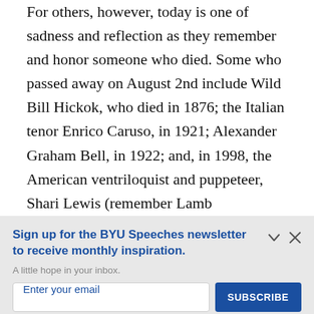For others, however, today is one of sadness and reflection as they remember and honor someone who died. Some who passed away on August 2nd include Wild Bill Hickok, who died in 1876; the Italian tenor Enrico Caruso, in 1921; Alexander Graham Bell, in 1922; and, in 1998, the American ventriloquist and puppeteer, Shari Lewis (remember Lamb
Sign up for the BYU Speeches newsletter to receive monthly inspiration.
A little hope in your inbox.
Enter your email
SUBSCRIBE